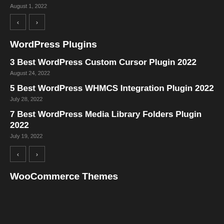August 1, 2022
[Figure (other): Pagination navigation buttons: left arrow and right arrow]
WordPress Plugins
3 Best WordPress Custom Cursor Plugin 2022
August 24, 2022
5 Best WordPress WHMCS Integration Plugin 2022
July 28, 2022
7 Best WordPress Media Library Folders Plugin 2022
July 19, 2022
[Figure (other): Pagination navigation buttons: left arrow and right arrow]
WooCommerce Themes